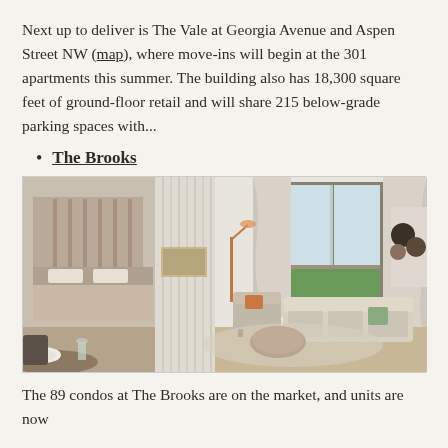Next up to deliver is The Vale at Georgia Avenue and Aspen Street NW (map), where move-ins will begin at the 301 apartments this summer. The building also has 18,300 square feet of ground-floor retail and will share 215 below-grade parking spaces with...
The Brooks
[Figure (photo): Interior rendering of a modern apartment unit showing an open-plan living and dining area with a bedroom visible through a partition wall, large windows with flowing curtains, a sliding glass door to a balcony with a green view, modern furniture including a sofa, armchair, coffee table, and abstract wall art.]
The 89 condos at The Brooks are on the market, and units are now